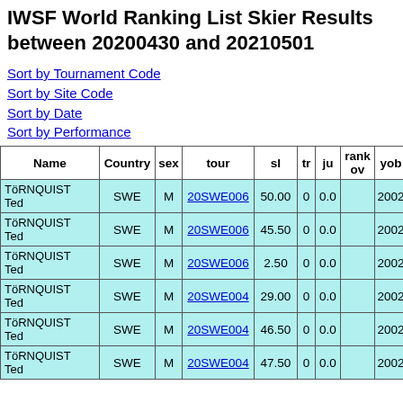IWSF World Ranking List Skier Results between 20200430 and 20210501
Sort by Tournament Code
Sort by Site Code
Sort by Date
Sort by Performance
| Name | Country | sex | tour | sl | tr | ju | rank ov | yob | c |
| --- | --- | --- | --- | --- | --- | --- | --- | --- | --- |
| TöRNQUIST Ted | SWE | M | 20SWE006 | 50.00 | 0 | 0.0 |  | 2002 | L |
| TöRNQUIST Ted | SWE | M | 20SWE006 | 45.50 | 0 | 0.0 |  | 2002 | L |
| TöRNQUIST Ted | SWE | M | 20SWE006 | 2.50 | 0 | 0.0 |  | 2002 | L |
| TöRNQUIST Ted | SWE | M | 20SWE004 | 29.00 | 0 | 0.0 |  | 2002 | L |
| TöRNQUIST Ted | SWE | M | 20SWE004 | 46.50 | 0 | 0.0 |  | 2002 | L |
| TöRNQUIST Ted | SWE | M | 20SWE004 | 47.50 | 0 | 0.0 |  | 2002 | L |